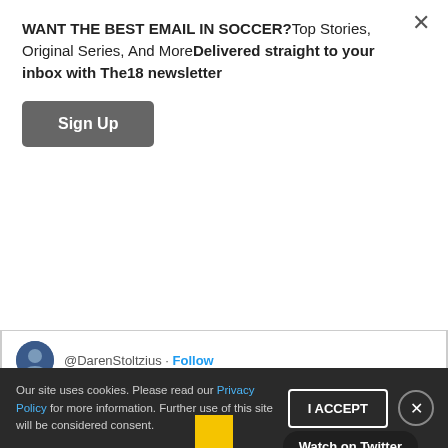WANT THE BEST EMAIL IN SOCCER?Top Stories, Original Series, And MoreDelivered straight to your inbox with The18 newsletter
Sign Up
@DarenStoltzius · Follow
Here's the reaction as Orlando is left out of the FIFA World Cup host sites
[Figure (screenshot): Embedded tweet with video thumbnail showing a crowd at a venue. Yellow banner visible in center. 'Watch on Twitter' badge in top right. Blue play button in center.]
Our site uses cookies. Please read our Privacy Policy for more information. Further use of this site will be considered consent.
I ACCEPT